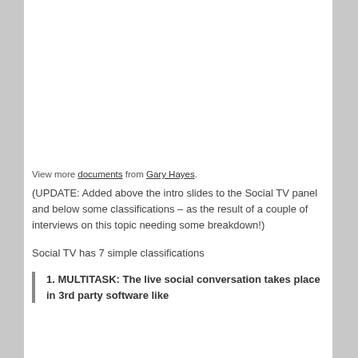View more documents from Gary Hayes.
(UPDATE: Added above the intro slides to the Social TV panel and below some classifications – as the result of a couple of interviews on this topic needing some breakdown!)
Social TV has 7 simple classifications
1. MULTITASK: The live social conversation takes place in 3rd party software like